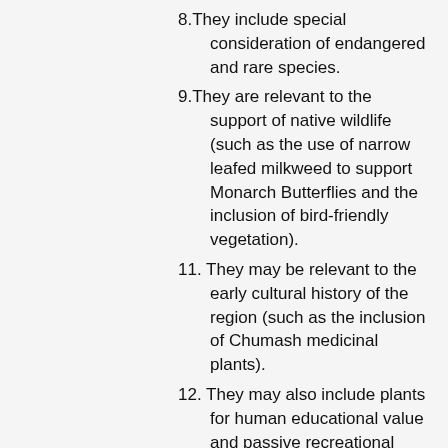8.They include special consideration of endangered and rare species.
9.They are relevant to the support of native wildlife (such as the use of narrow leafed milkweed to support Monarch Butterflies and the inclusion of bird-friendly vegetation).
11. They may be relevant to the early cultural history of the region (such as the inclusion of Chumash medicinal plants).
12. They may also include plants for human educational value and passive recreational enjoyment (such as native indigenous flowering plants).
Additional Resources used:
Recommended List of Native Plants for Landscaping in the Santa Monica Mountains (by the California Native Plant Society).